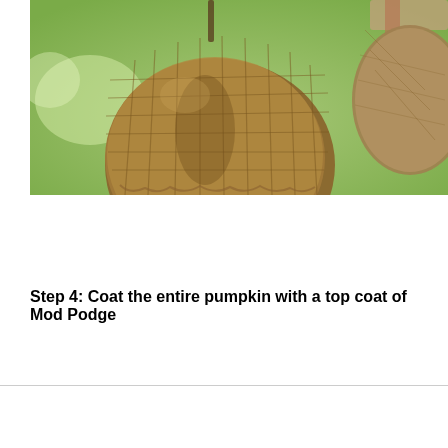[Figure (photo): Close-up photo of pumpkins wrapped in burlap fabric, hanging outdoors with a blurred green background. Two burlap-covered spherical pumpkins are visible, one in the foreground showing the texture of the burlap material.]
Step 4:  Coat the entire pumpkin with a top coat of Mod Podge